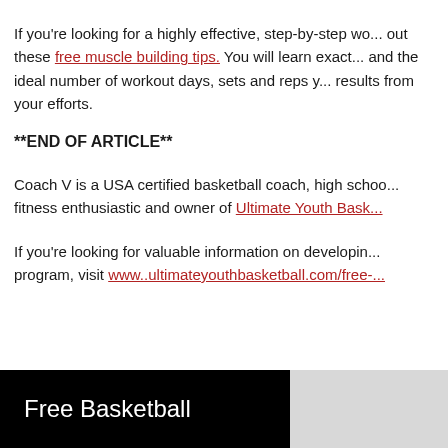If you're looking for a highly effective, step-by-step wo... out these free muscle building tips. You will learn exact... and the ideal number of workout days, sets and reps y... results from your efforts.
**END OF ARTICLE**
Coach V is a USA certified basketball coach, high schoo... fitness enthusiastic and owner of Ultimate Youth Bask...
If you're looking for valuable information on developin... program, visit www..ultimateyouthbasketball.com/free-...
Free Basketball